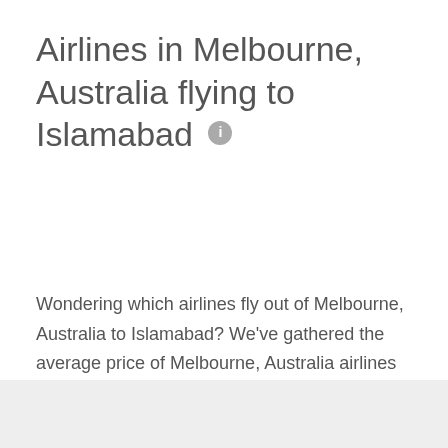Airlines in Melbourne, Australia flying to Islamabad
Wondering which airlines fly out of Melbourne, Australia to Islamabad? We've gathered the average price of Melbourne, Australia airlines with flights to Islamabad. Different airlines offer different levels of comfort and service, so consider convenience when choosing your airline.